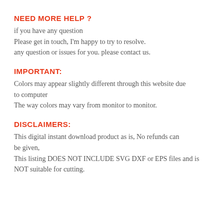NEED MORE HELP ?
if you have any question
Please get in touch, I'm happy to try to resolve.
any question or issues for you. please contact us.
IMPORTANT:
Colors may appear slightly different through this website due to computer
The way colors may vary from monitor to monitor.
DISCLAIMERS:
This digital instant download product as is, No refunds can be given,
This listing DOES NOT INCLUDE SVG DXF or EPS files and is NOT suitable for cutting.